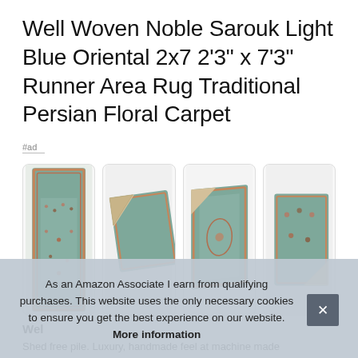Well Woven Noble Sarouk Light Blue Oriental 2x7 2'3" x 7'3" Runner Area Rug Traditional Persian Floral Carpet
#ad
[Figure (photo): Four product images of a light blue Persian floral runner area rug: full rug view, corner fold showing back, corner view, and corner fold view.]
Wel
Shed free pile. Luxury, handmade feel at machine made
As an Amazon Associate I earn from qualifying purchases. This website uses the only necessary cookies to ensure you get the best experience on our website. More information